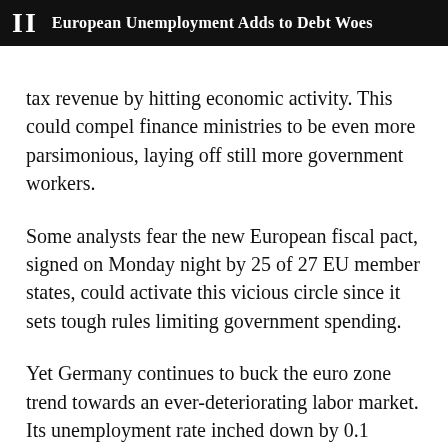II European Unemployment Adds to Debt Woes
tax revenue by hitting economic activity. This could compel finance ministries to be even more parsimonious, laying off still more government workers.
Some analysts fear the new European fiscal pact, signed on Monday night by 25 of 27 EU member states, could activate this vicious circle since it sets tough rules limiting government spending.
Yet Germany continues to buck the euro zone trend towards an ever-deteriorating labor market. Its unemployment rate inched down by 0.1 percentage points to 5.5 percent in December — the lowest since the